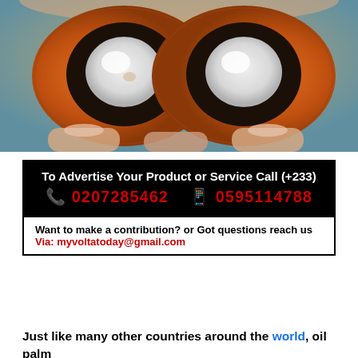[Figure (photo): Close-up photo of two cross-sectioned oil palm fruits held between fingers, showing orange fibrous exterior, dark black shell layer, and white kernel/seed in the center.]
To Advertise Your Product or Service Call (+233)
📞 0207285462   📱 0595114788
Want to make a contribution? or Got questions reach us
Via: myvoltatoday@gmail.com
Just like many other countries around the world, oil palm